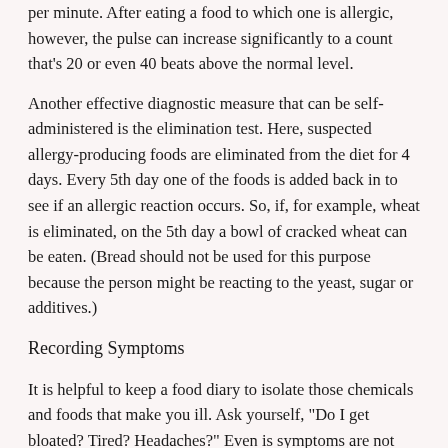per minute. After eating a food to which one is allergic, however, the pulse can increase significantly to a count that's 20 or even 40 beats above the normal level.
Another effective diagnostic measure that can be self-administered is the elimination test. Here, suspected allergy-producing foods are eliminated from the diet for 4 days. Every 5th day one of the foods is added back in to see if an allergic reaction occurs. So, if, for example, wheat is eliminated, on the 5th day a bowl of cracked wheat can be eaten. (Bread should not be used for this purpose because the person might be reacting to the yeast, sugar or additives.)
Recording Symptoms
It is helpful to keep a food diary to isolate those chemicals and foods that make you ill. Ask yourself, "Do I get bloated? Tired? Headaches?" Even is symptoms are not immediate, write them down. If you are allergic to a food, patterns will begin to emerge. A wide array of symptoms can occur depending upon which systems are most affected:
Adrenal System Reactions: Low energy or chronic fatigue is a